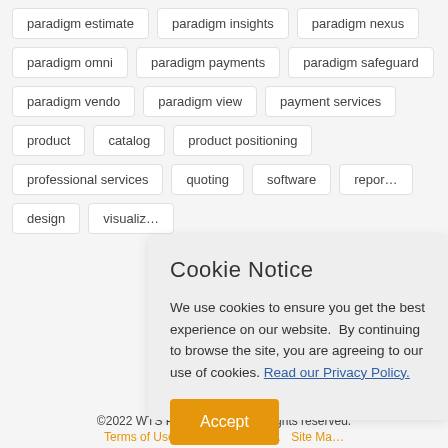paradigm estimate
paradigm insights
paradigm nexus
paradigm omni
paradigm payments
paradigm safeguard
paradigm vendo
paradigm view
payment services
product
catalog
product positioning
professional services
quoting
software
repor…
design
visualiz…
Cookie Notice
We use cookies to ensure you get the best experience on our website.  By continuing to browse the site, you are agreeing to our use of cookies. Read our Privacy Policy.
Accept
©2022 WTS Paradigm, LLC. All rights reserved.
Terms of Use   Privacy Policy   …   Site Ma…